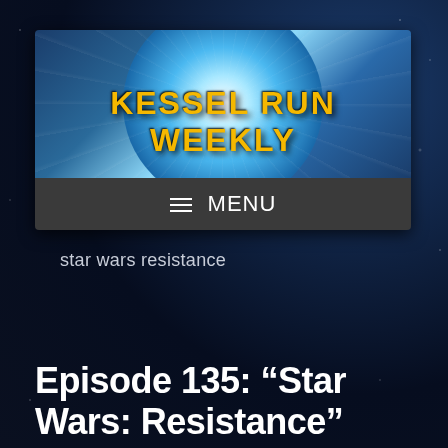[Figure (logo): Kessel Run Weekly website banner showing hyperspace tunnel from Millennium Falcon cockpit with yellow 'KESSEL RUN WEEKLY' text overlaid]
≡  MENU
star wars resistance
Episode 135: “Star Wars: Resistance” Season 2